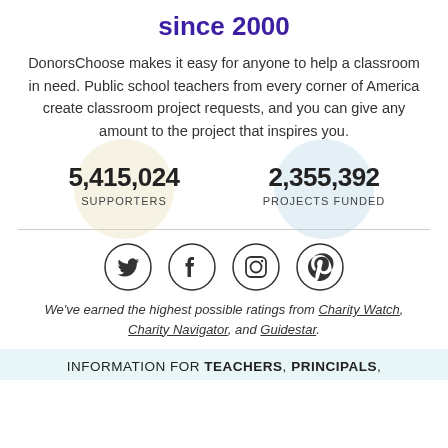since 2000
DonorsChoose makes it easy for anyone to help a classroom in need. Public school teachers from every corner of America create classroom project requests, and you can give any amount to the project that inspires you.
5,415,024 SUPPORTERS | 2,355,392 PROJECTS FUNDED
[Figure (infographic): Social media icons in circles: Twitter, Facebook, Instagram, Pinterest]
We've earned the highest possible ratings from Charity Watch, Charity Navigator, and Guidestar.
INFORMATION FOR TEACHERS, PRINCIPALS,